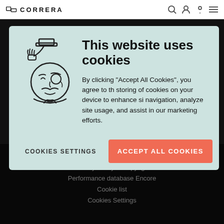CORRERA
This website uses cookies
By clicking “Accept All Cookies”, you agree to the storing of cookies on your device to enhance site navigation, analyze site usage, and assist in our marketing efforts.
COOKIES SETTINGS
ACCEPT ALL COOKIES
Privacy Policy & Copyright
Performance database Encore
Cookie list
Cookies Settings